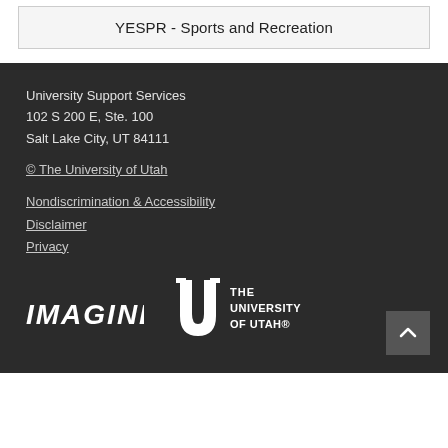YESPR - Sports and Recreation
University Support Services
102 S 200 E, Ste. 100
Salt Lake City, UT 84111

© The University of Utah

Nondiscrimination & Accessibility
Disclaimer
Privacy
[Figure (logo): IMAGINE logo and The University of Utah logo with U symbol]